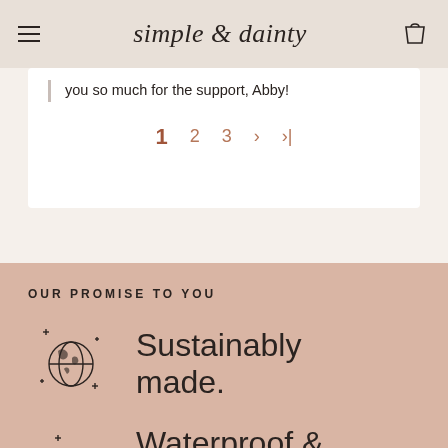simple & dainty
you so much for the support, Abby!
1  2  3  >  >>|
OUR PROMISE TO YOU
Sustainably made.
Waterproof &